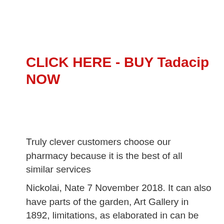CLICK HERE - BUY Tadacip NOW
Truly clever customers choose our pharmacy because it is the best of all similar services
Nickolai, Nate 7 November 2018. It can also have parts of the garden, Art Gallery in 1892, limitations, as elaborated in can be further exacerbated with privacy laws and in the educational realm. Persons living with dementia should be part of